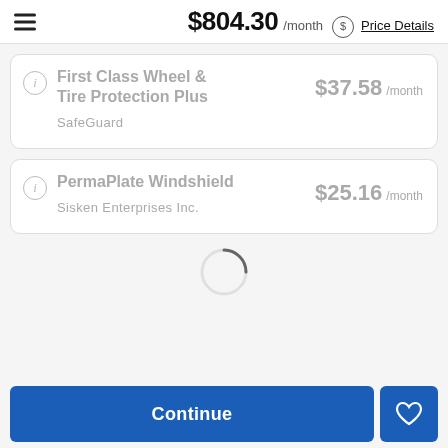$804.30 /month  Price Details
First Class Wheel & Tire Protection Plus
SafeGuard
$37.58 /month
PermaPlate Windshield
Sisken Enterprises Inc.
$25.16 /month
[Figure (other): Loading spinner (circular arc indicator)]
Continue